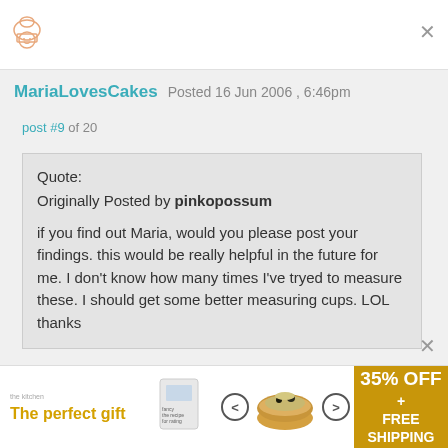Chef icon logo
MariaLovesCakes   Posted 16 Jun 2006 , 6:46pm
post #9 of 20
Quote:
Originally Posted by pinkopossum

if you find out Maria, would you please post your findings. this would be really helpful in the future for me. I don't know how many times I've tryed to measure these. I should get some better measuring cups. LOL thanks
[Figure (other): Advertisement banner: The perfect gift, 35% OFF + FREE SHIPPING, food product image with navigation arrows]